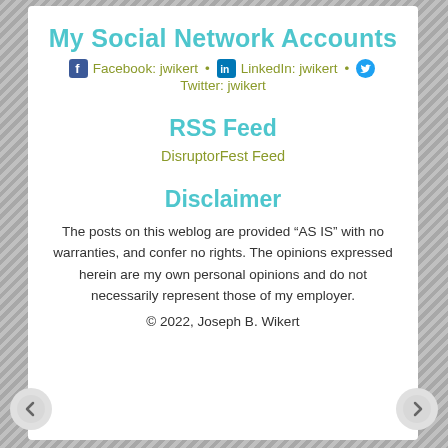My Social Network Accounts
Facebook: jwikert • LinkedIn: jwikert • Twitter: jwikert
RSS Feed
DisruptorFest Feed
Disclaimer
The posts on this weblog are provided “AS IS” with no warranties, and confer no rights. The opinions expressed herein are my own personal opinions and do not necessarily represent those of my employer.
© 2022, Joseph B. Wikert